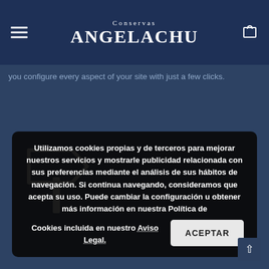Conservas ANGELACHU
Smart Theme Options
you configure every aspect of your site with just a few clicks.
[Figure (illustration): White directional signpost icon on dark blue background]
Utilizamos cookies propias y de terceros para mejorar nuestros servicios y mostrarle publicidad relacionada con sus preferencias mediante el análisis de sus hábitos de navegación. Si continua navegando, consideramos que acepta su uso. Puede cambiar la configuración u obtener más información en nuestra Política de Cookies incluida en nuestro Aviso Legal.